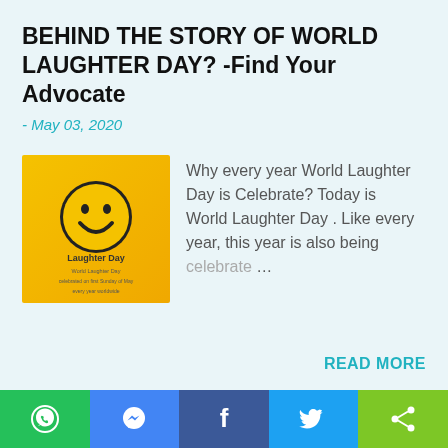BEHIND THE STORY OF WORLD LAUGHTER DAY? -Find Your Advocate
- May 03, 2020
[Figure (illustration): Yellow square image with a smiley face and 'Laughter Day' text]
Why every year World Laughter Day is Celebrate? Today is World Laughter Day . Like every year, this year is also being celebrate …
READ MORE